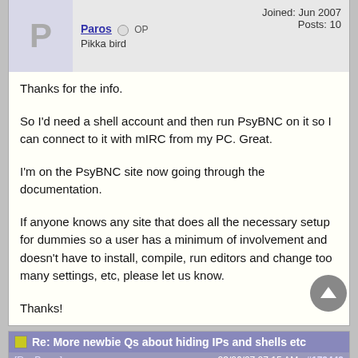P
Paros OP
Pikka bird
Joined: Jun 2007
Posts: 10
Thanks for the info.

So I'd need a shell account and then run PsyBNC on it so I can connect to it with mIRC from my PC. Great.

I'm on the PsyBNC site now going through the documentation.

If anyone knows any site that does all the necessary setup for dummies so a user has a minimum of involvement and doesn't have to install, compile, run editors and change too many settings, etc, please let us know.

Thanks!
Re: More newbie Qs about hiding IPs and shells etc
[Re: Paros]  23/06/07 07:15 AM  #179449
R
RusselB
Hoopy frood
Joined: Aug 2004
Posts: 7,252
Ontario, Canada
You might also consider checking if the network